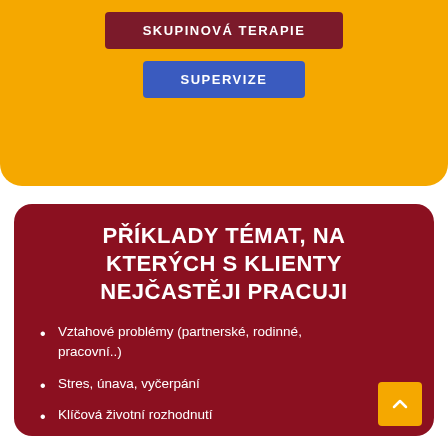[Figure (infographic): Orange rounded top section with two buttons: dark red 'SKUPINOVÁ TERAPIE' button and blue 'SUPERVIZE' button]
PŘÍKLADY TÉMAT, NA KTERÝCH S KLIENTY NEJČASTĚJI PRACUJI
Vztahové problémy (partnerské, rodinné, pracovní..)
Stres, únava, vyčerpání
Klíčová životní rozhodnutí
Náročné životní situace a krize